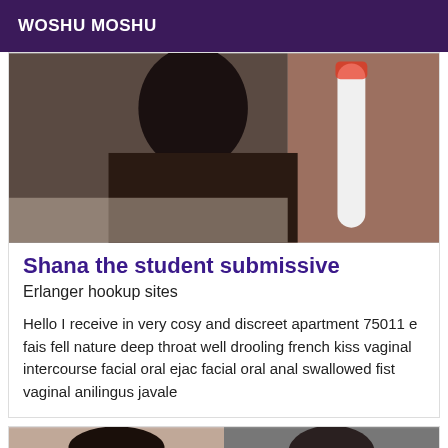WOSHU MOSHU
[Figure (photo): Photo of a person in dark clothing, partial view, indoor setting with white fixture visible on right side]
Shana the student submissive
Erlanger hookup sites
Hello I receive in very cosy and discreet apartment 75011 e fais fell nature deep throat well drooling french kiss vaginal intercourse facial oral ejac facial oral anal swallowed fist vaginal anilingus javale
[Figure (photo): Two partial photos side by side at the bottom of the page]